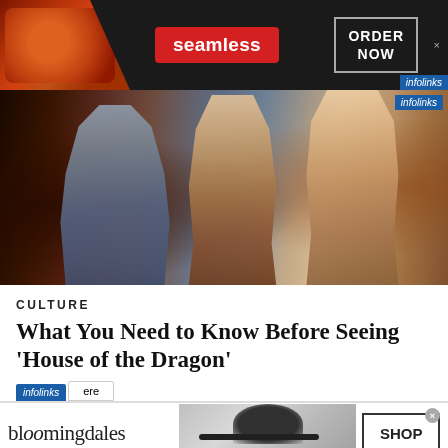[Figure (screenshot): Seamless food delivery advertisement banner with pizza image, red Seamless badge, and ORDER NOW button on dark background]
[Figure (photo): Hero image showing three fantasy TV show characters from House of the Dragon / Game of Thrones, composite of a warrior in armor, a dark-haired woman, and a blonde woman]
CULTURE
What You Need to Know Before Seeing 'House of the Dragon'
[Figure (screenshot): Bloomingdale's advertisement banner with text 'View Today's Top Deals!' and SHOP NOW button, featuring a model in a wide-brimmed hat]
[Figure (logo): infolinks partial badge visible with partial tab showing 'are']